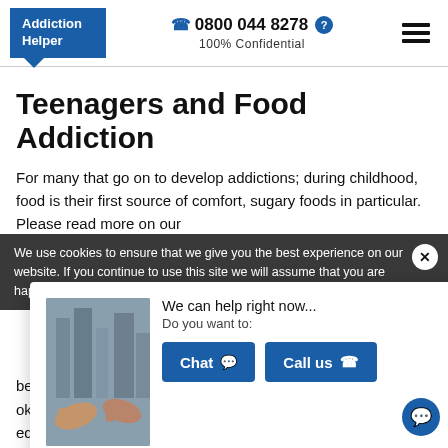Addiction Helper | ☎ 0800 044 8278 ? | 100% Confidential
Teenagers and Food Addiction
For many that go on to develop addictions; during childhood, food is their first source of comfort, sugary foods in particular. Please read more on our
We use cookies to ensure that we give you the best experience on our website. If you continue to use this site we will assume that you are happy with it.
[Figure (photo): Two hands reaching toward each other against a grey urban background]
We can help right now...
Do you want to:
Chat | Call us
become like an obsession. Most things in moderation are okay; it is important as a parent, or the main caregiver, to educate your children about